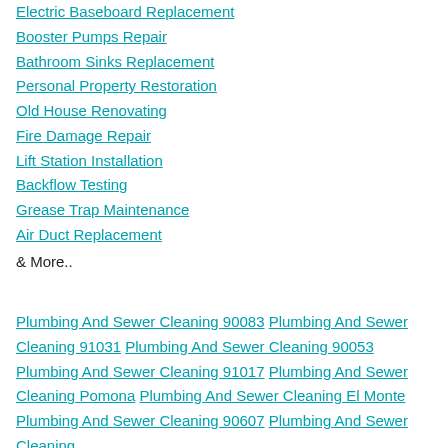Electric Baseboard Replacement
Booster Pumps Repair
Bathroom Sinks Replacement
Personal Property Restoration
Old House Renovating
Fire Damage Repair
Lift Station Installation
Backflow Testing
Grease Trap Maintenance
Air Duct Replacement
& More..
Plumbing And Sewer Cleaning 90083 Plumbing And Sewer Cleaning 91031 Plumbing And Sewer Cleaning 90053 Plumbing And Sewer Cleaning 91017 Plumbing And Sewer Cleaning Pomona Plumbing And Sewer Cleaning El Monte Plumbing And Sewer Cleaning 90607 Plumbing And Sewer Cleaning Alhambra Plumbing And Sewer Cleaning